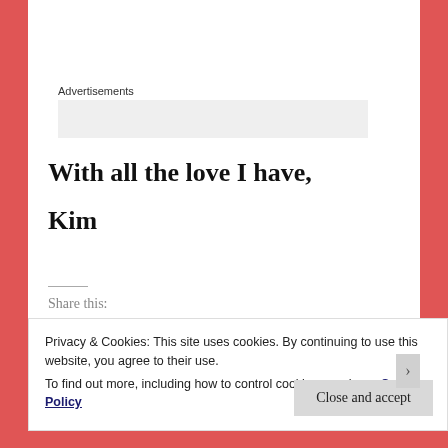Advertisements
With all the love I have,
Kim
Share this:
Privacy & Cookies: This site uses cookies. By continuing to use this website, you agree to their use. To find out more, including how to control cookies, see here: Cookie Policy
Close and accept